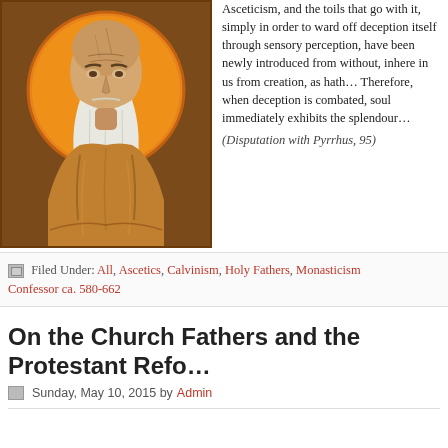[Figure (illustration): Byzantine icon-style portrait of a bearded saint/holy father with white beard, bald head, wearing golden/brown robes, on an orange-gold background with halo.]
Asceticism, and the toils that go with it, simply in order to ward off deception itself through sensory perception, have been newly introduced from without, inhere in us from creation, as hath... Therefore, when deception is combated, soul immediately exhibits the splendour... (Disputation with Pyrrhus, 95)
Filed Under: All, Ascetics, Calvinism, Holy Fathers, Monasticism, Confessor ca. 580-662
On the Church Fathers and the Protestant Refo...
Sunday, May 10, 2015 by Admin